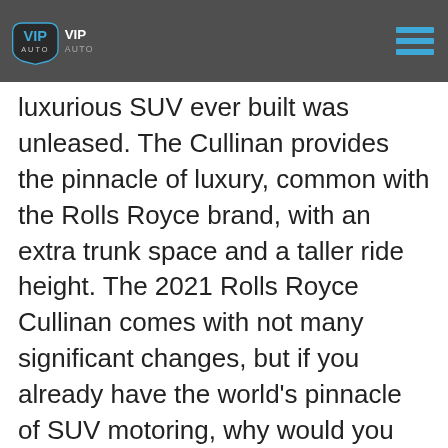VIP Auto (logo) — navigation bar with hamburger menu
luxurious SUV ever built was unleased. The Cullinan provides the pinnacle of luxury, common with the Rolls Royce brand, with an extra trunk space and a taller ride height. The 2021 Rolls Royce Cullinan comes with not many significant changes, but if you already have the world's pinnacle of SUV motoring, why would you change that so soon? Of course, you can expect such an SUV with unrivaled opulence and comfort to come with a mighty price tag, but the 2021 Rolls Royce Cullinan lease deal from VIP Auto will always save the day.
Engine
Powering the exclusive 2021 Cullinan is a 6.7-